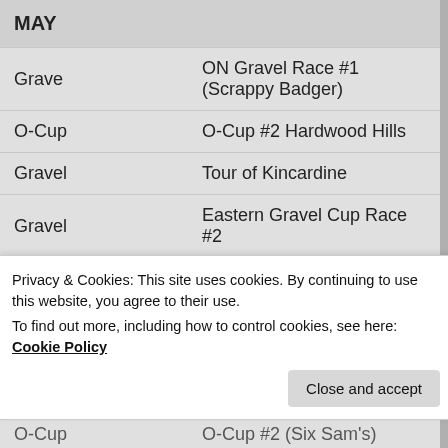| Type | Event |
| --- | --- |
| MAY |  |
| Grave | ON Gravel Race #1 (Scrappy Badger) |
| O-Cup | O-Cup #2 Hardwood Hills |
| Gravel | Tour of Kincardine |
| Gravel | Eastern Gravel Cup Race #2 |
| MTB | Superfly Spring Epic 8 |
| JUNE |  |
| MTB | Women's 4 Hour MTB Relay |
Privacy & Cookies: This site uses cookies. By continuing to use this website, you agree to their use.
To find out more, including how to control cookies, see here: Cookie Policy
Close and accept
O-Cup   O-Cup #2 (Six Sam's)